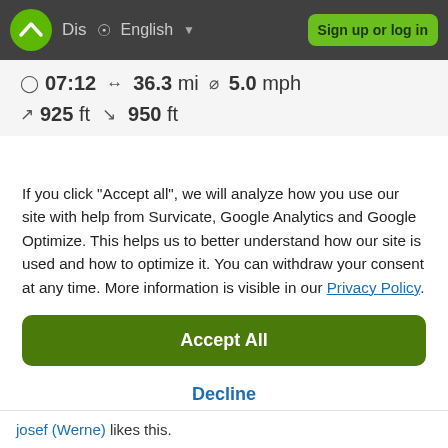Dis   English   Sign up or log in
07:12   36.3 mi   5.0 mph   925 ft   950 ft
If you click "Accept all", we will analyze how you use our site with help from Survicate, Google Analytics and Google Optimize. This helps us to better understand how our site is used and how to optimize it. You can withdraw your consent at any time. More information is visible in our Privacy Policy.
Accept All
Decline
Details
josef (Werne) likes this.